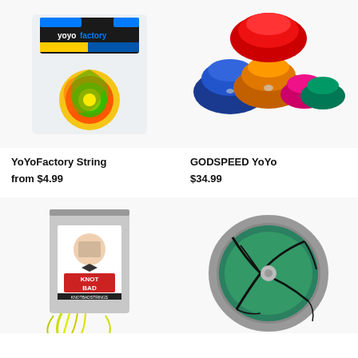[Figure (photo): YoYoFactory string product in clear plastic bag with colorful yo-yo string coil]
[Figure (photo): Multiple GODSPEED YoYos in different colors: red, blue, orange, pink, green/teal]
YoYoFactory String
from $4.99
GODSPEED YoYo
$34.99
[Figure (photo): Knot Bad string product in small silver ziplock bag with illustrated label showing man in tuxedo]
[Figure (photo): Green and silver yo-yo with black abstract line pattern design]